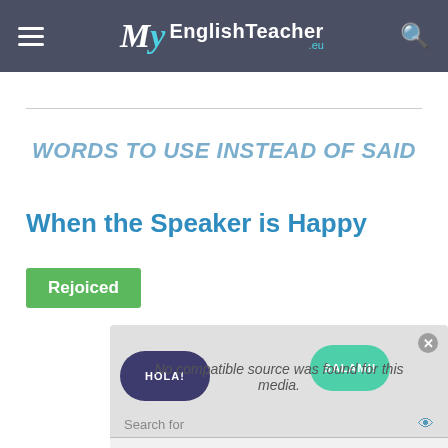My EnglishTeacher .eu
WORDS TO USE INSTEAD OF SAID
When the Speaker is Happy
Rejoiced
[Figure (screenshot): Video media player overlay showing 'No compatible source was found for this media.' with speech bubbles (HOLA! and SALAMI!) and an advertisement panel with search items: 1. SIGN LANGUAGE CLASSES, 2. HOW TO TELL IF SOMEONE IS LYING]